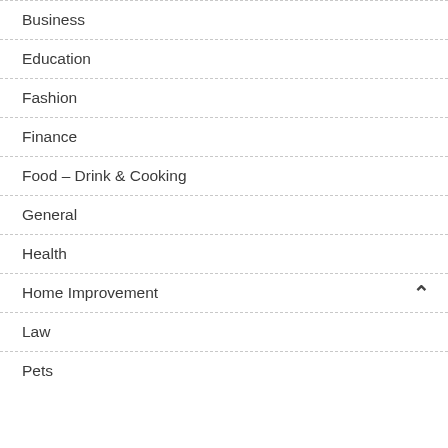Business
Education
Fashion
Finance
Food – Drink & Cooking
General
Health
Home Improvement
Law
Pets